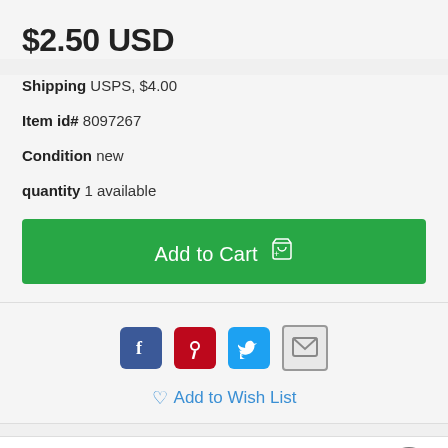$2.50 USD
Shipping USPS, $4.00
Item id# 8097267
Condition new
quantity 1 available
Add to Cart
[Figure (infographic): Social sharing icons: Facebook (blue), Pinterest (red), Twitter (light blue), Email (gray envelope)]
Add to Wish List
Description